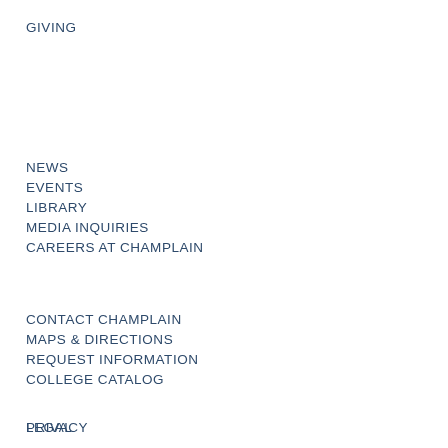GIVING
NEWS
EVENTS
LIBRARY
MEDIA INQUIRIES
CAREERS AT CHAMPLAIN
CONTACT CHAMPLAIN
MAPS & DIRECTIONS
REQUEST INFORMATION
COLLEGE CATALOG
PRIVACY
LEGAL
TITLE IX
CONSUMER INFO